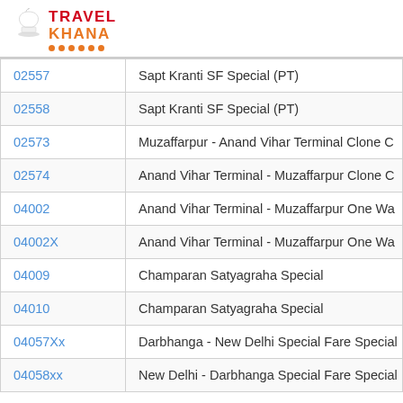[Figure (logo): TravelKhana logo with chef hat icon, red TRAVEL text and orange KHANA text with decorative dots underline]
| Code | Train Name |
| --- | --- |
| 02557 | Sapt Kranti SF Special (PT) |
| 02558 | Sapt Kranti SF Special (PT) |
| 02573 | Muzaffarpur - Anand Vihar Terminal Clone C |
| 02574 | Anand Vihar Terminal - Muzaffarpur Clone C |
| 04002 | Anand Vihar Terminal - Muzaffarpur One Wa |
| 04002X | Anand Vihar Terminal - Muzaffarpur One Wa |
| 04009 | Champaran Satyagraha Special |
| 04010 | Champaran Satyagraha Special |
| 04057Xx | Darbhanga - New Delhi Special Fare Special |
| 04058xx | New Delhi - Darbhanga Special Fare Special |